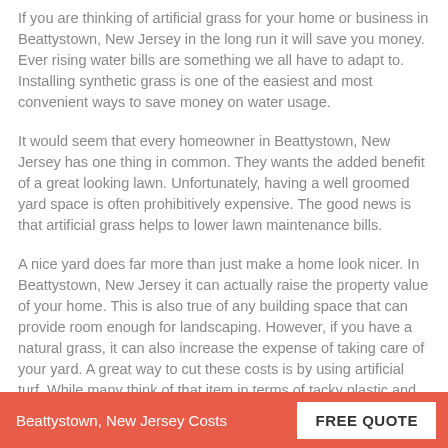If you are thinking of artificial grass for your home or business in Beattystown, New Jersey in the long run it will save you money. Ever rising water bills are something we all have to adapt to. Installing synthetic grass is one of the easiest and most convenient ways to save money on water usage.
It would seem that every homeowner in Beattystown, New Jersey has one thing in common. They wants the added benefit of a great looking lawn. Unfortunately, having a well groomed yard space is often prohibitively expensive. The good news is that artificial grass helps to lower lawn maintenance bills.
A nice yard does far more than just make a home look nicer. In Beattystown, New Jersey it can actually raise the property value of your home. This is also true of any building space that can provide room enough for landscaping. However, if you have a natural grass, it can also increase the expense of taking care of your yard. A great way to cut these costs is by using artificial turf. While many think of that item in terms of tacky plastic and false green surfaces,
Beattystown, New Jersey Costs